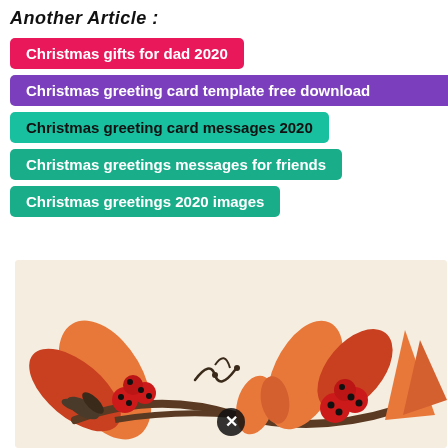Another Article :
Christmas gifts for dad 2020
Christmas greeting card template free download
Christmas greeting card messages 2020
Christmas greetings messages for friends
Christmas greetings 2020 images
[Figure (illustration): Christmas floral wreath illustration with red berries, orange and red leaves, and decorative elements on a light beige background. A close button (X icon) is visible near the center-bottom.]